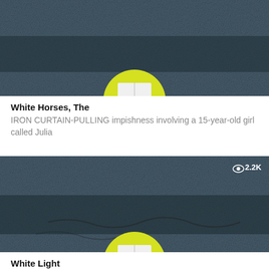[Figure (screenshot): Thumbnail image of a dark textured background (blue-grey noise pattern) with a yellow semi-circle and white rectangular shape at the bottom center, partially cropped at top]
White Horses, The
IRON CURTAIN-PULLING impishness involving a 15-year-old girl called Julia
[Figure (screenshot): Thumbnail image similar to first: dark textured background (blue-grey noise pattern) with a yellow semi-circle and white rectangular shape at bottom center. Shows view count of 2.2K in upper right corner.]
White Light
EARNEST TEEN magazine of the kind that multiplied around